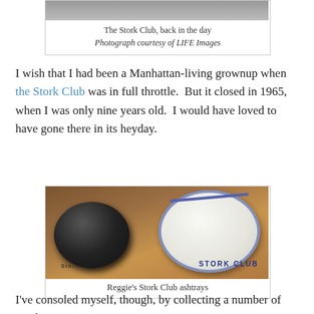[Figure (photo): Partial view of a historical photograph of The Stork Club]
The Stork Club, back in the day
Photograph courtesy of LIFE Images
I wish that I had been a Manhattan-living grownup when the Stork Club was in full throttle.  But it closed in 1965, when I was only nine years old.  I would have loved to have gone there in its heyday.
[Figure (photo): Two Stork Club ceramic ashtrays on a wooden surface — one black and one white with blue Stork Club logo and text]
Reggie's Stork Club ashtrays
I've consoled myself, though, by collecting a number of Stork